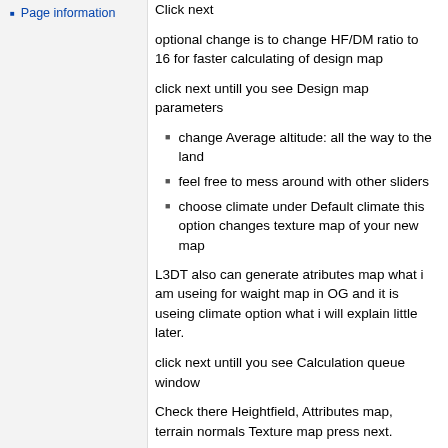Page information
Click next
optional change is to change HF/DM ratio to 16 for faster calculating of design map
click next untill you see Design map parameters
change Average altitude: all the way to the land
feel free to mess around with other sliders
choose climate under Default climate this option changes texture map of your new map
L3DT also can generate atributes map what i am useing for waight map in OG and it is useing climate option what i will explain little later.
click next untill you see Calculation queue window
Check there Heightfield, Attributes map, terrain normals Texture map press next.
So you see Texture settings.